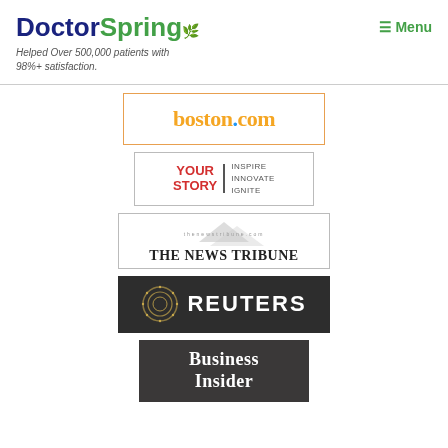DoctorSpring — Helped Over 500,000 patients with 98%+ satisfaction.
[Figure (logo): boston.com logo in orange serif font with blue dot, inside orange border box]
[Figure (logo): YourStory logo: YOUR STORY in red bold, vertical bar, INSPIRE INNOVATE IGNITE in gray]
[Figure (logo): The News Tribune logo with mountain graphic and serif bold text]
[Figure (logo): Reuters logo: dark gray background, spiral/globe icon in gold, REUTERS in white bold]
[Figure (logo): Business Insider logo: dark gray background, Business Insider in white serif font]